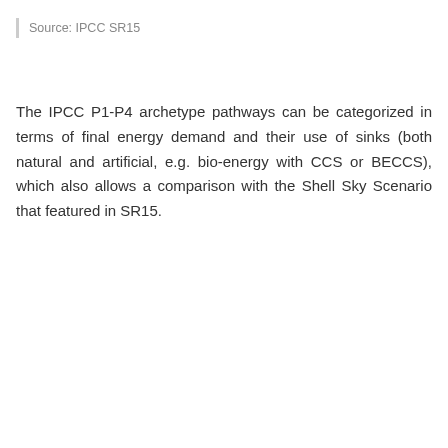Source: IPCC SR15
The IPCC P1-P4 archetype pathways can be categorized in terms of final energy demand and their use of sinks (both natural and artificial, e.g. bio-energy with CCS or BECCS), which also allows a comparison with the Shell Sky Scenario that featured in SR15.